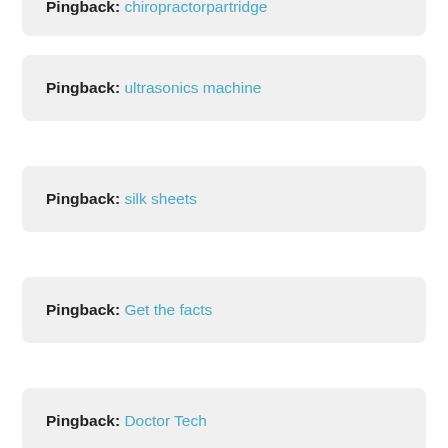Pingback: chiropractorpartridge
Pingback: ultrasonics machine
Pingback: silk sheets
Pingback: Get the facts
Pingback: Doctor Tech